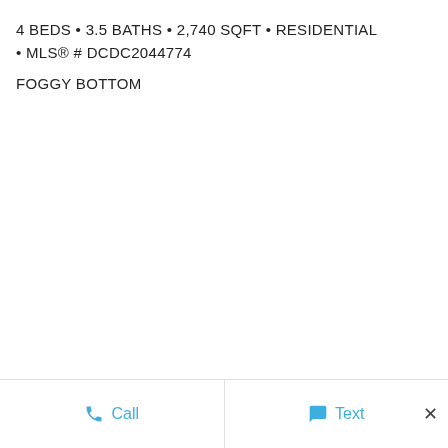4 BEDS • 3.5 BATHS • 2,740 SQFT • RESIDENTIAL • MLS® # DCDC2044774
FOGGY BOTTOM
Call  Text